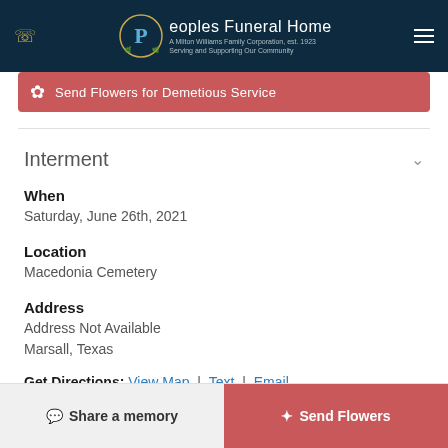Peoples Funeral Home — A Milton Williams Family Corporation, est. 1923. Serving and Supporting Our Community
Send Flowers for Demetious Service
Interment
When
Saturday, June 26th, 2021
Location
Macedonia Cemetery
Address
Address Not Available
Marsall, Texas
Get Directions: View Map | Text | Email
Share a memory
Send Flowers